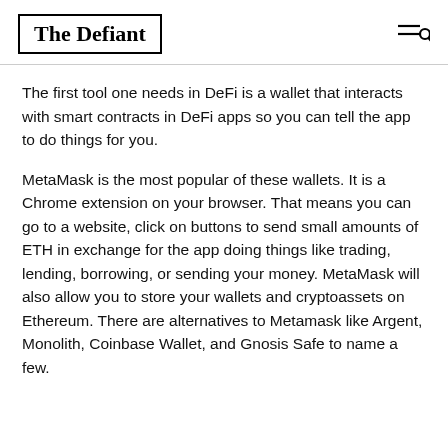The Defiant
The first tool one needs in DeFi is a wallet that interacts with smart contracts in DeFi apps so you can tell the app to do things for you.
MetaMask is the most popular of these wallets. It is a Chrome extension on your browser. That means you can go to a website, click on buttons to send small amounts of ETH in exchange for the app doing things like trading, lending, borrowing, or sending your money. MetaMask will also allow you to store your wallets and cryptoassets on Ethereum. There are alternatives to Metamask like Argent, Monolith, Coinbase Wallet, and Gnosis Safe to name a few.